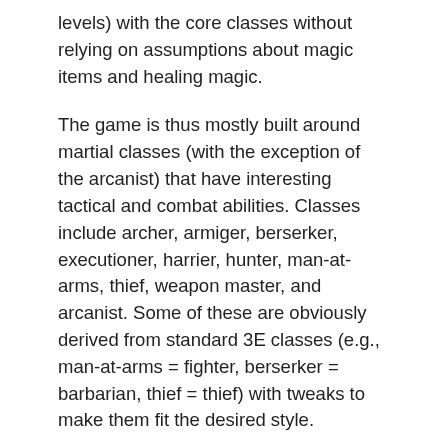levels) with the core classes without relying on assumptions about magic items and healing magic.
The game is thus mostly built around martial classes (with the exception of the arcanist) that have interesting tactical and combat abilities. Classes include archer, armiger, berserker, executioner, harrier, hunter, man-at-arms, thief, weapon master, and arcanist. Some of these are obviously derived from standard 3E classes (e.g., man-at-arms = fighter, berserker = barbarian, thief = thief) with tweaks to make them fit the desired style.
Though this may seem, from the above description, to be similar to many recent high power, heroic games, the actual atmosphere is swords & sorcery, enforced by a lack of magical items and a highly dangerous magic system for the one class that uses magic. This is a system for Conan stories, not for teleporting elves. The art is also perfectly in tune with this vibe.